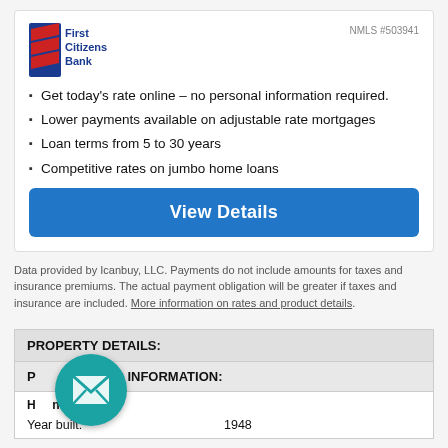[Figure (logo): First Citizens Bank logo with red and blue flag icon and blue text]
NMLS #503941
Get today's rate online – no personal information required.
Lower payments available on adjustable rate mortgages
Loan terms from 5 to 30 years
Competitive rates on jumbo home loans
View Details
Data provided by Icanbuy, LLC. Payments do not include amounts for taxes and insurance premiums. The actual payment obligation will be greater if taxes and insurance are included. More information on rates and product details.
PROPERTY DETAILS:
PROPERTY BASIC INFORMATION:
Home information:
Year built:                    1948